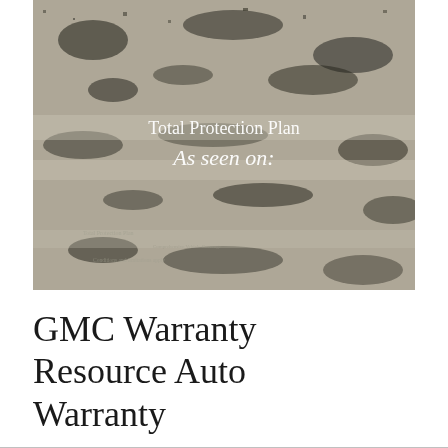[Figure (photo): Rocky/gravelly textured surface photo used as background image with white overlaid text reading 'Total Protection Plan' and 'As seen on:']
GMC Warranty Resource Auto Warranty